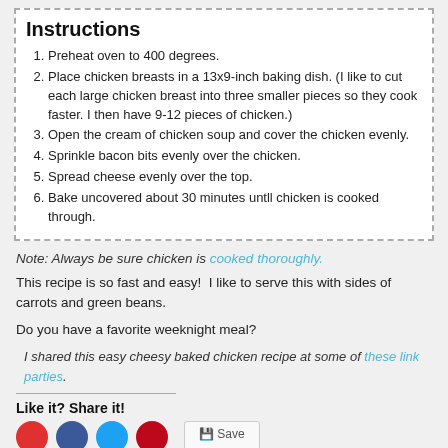Instructions
Preheat oven to 400 degrees.
Place chicken breasts in a 13x9-inch baking dish. (I like to cut each large chicken breast into three smaller pieces so they cook faster. I then have 9-12 pieces of chicken.)
Open the cream of chicken soup and cover the chicken evenly.
Sprinkle bacon bits evenly over the chicken.
Spread cheese evenly over the top.
Bake uncovered about 30 minutes untll chicken is cooked through.
Note: Always be sure chicken is cooked thoroughly.
This recipe is so fast and easy!  I like to serve this with sides of carrots and green beans.
Do you have a favorite weeknight meal?
I shared this easy cheesy baked chicken recipe at some of these link parties.
Like it? Share it!